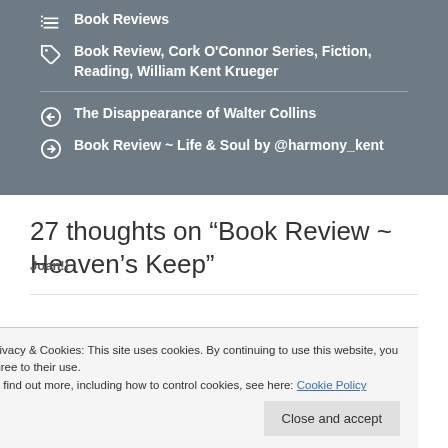Book Reviews
Book Review, Cork O'Connor Series, Fiction, Reading, William Kent Krueger
The Disappearance of Walter Collins
Book Review ~ Life & Soul by @harmony_kent
27 thoughts on “Book Review ~ Heaven’s Keep”
Privacy & Cookies: This site uses cookies. By continuing to use this website, you agree to their use. To find out more, including how to control cookies, see here: Cookie Policy
Joan!!